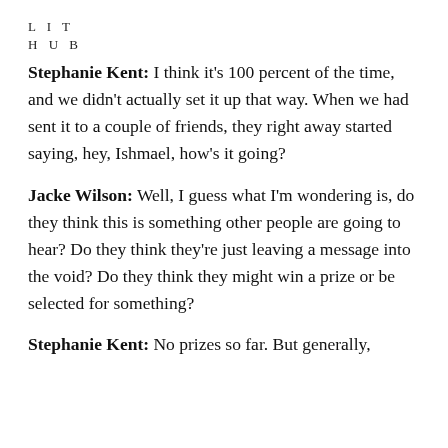LIT
HUB
Stephanie Kent: I think it's 100 percent of the time, and we didn't actually set it up that way. When we had sent it to a couple of friends, they right away started saying, hey, Ishmael, how's it going?
Jacke Wilson: Well, I guess what I'm wondering is, do they think this is something other people are going to hear? Do they think they're just leaving a message into the void? Do they think they might win a prize or be selected for something?
Stephanie Kent: No prizes so far. But generally,